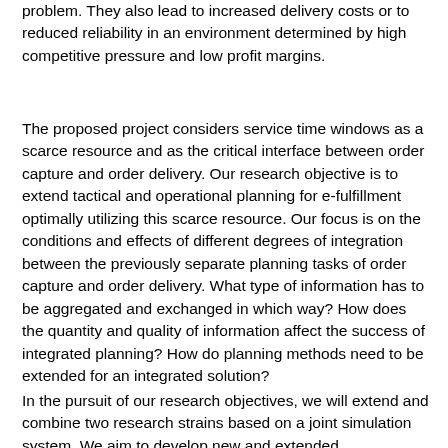problem. They also lead to increased delivery costs or to reduced reliability in an environment determined by high competitive pressure and low profit margins.
The proposed project considers service time windows as a scarce resource and as the critical interface between order capture and order delivery. Our research objective is to extend tactical and operational planning for e-fulfillment optimally utilizing this scarce resource. Our focus is on the conditions and effects of different degrees of integration between the previously separate planning tasks of order capture and order delivery. What type of information has to be aggregated and exchanged in which way? How does the quantity and quality of information affect the success of integrated planning? How do planning methods need to be extended for an integrated solution?
In the pursuit of our research objectives, we will extend and combine two research strains based on a joint simulation system. We aim to develop new and extended